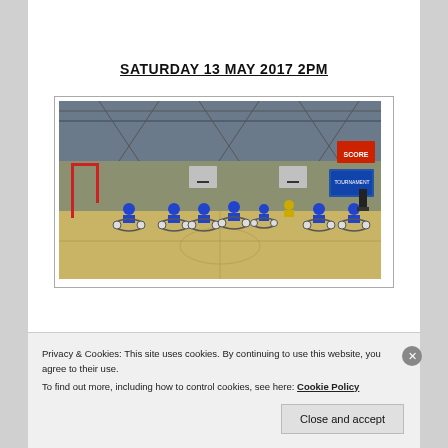SATURDAY 13 MAY 2017 2PM
[Figure (photo): Wheelchair rugby/basketball players on an indoor sports court in a large gymnasium. Players wearing blue jerseys are positioned across the court in their wheelchairs. A goalpost is visible on the left, basketball hoops in the background, and a tournament banner on the right wall.]
Privacy & Cookies: This site uses cookies. By continuing to use this website, you agree to their use.
To find out more, including how to control cookies, see here: Cookie Policy
Close and accept